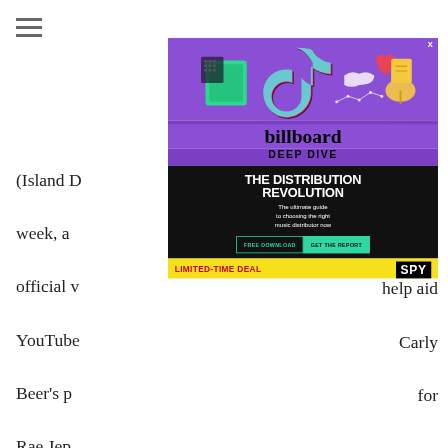(Island D... ning week, a... song's official v... YouTube... help aid Beer's p... Carly Rae Jep... for "Melodie...
+ RELA...
[Figure (screenshot): Billboard Deep Dive ad overlay on a music article webpage. Purple top section with TikTok and social media icons illustration. Billboard logo and 'DEEP DIVE' heading. Black bottom section with headline 'THE DISTRIBUTION REVOLUTION', subheading 'The ultimate guide to choosing the right music distributor now', buttons 'FREE DOWNLOAD' and 'GET THE REPORT'. Yellow footer bar with 'LIMITED-TIME DEAL' text and SPY logo. X close button top right.]